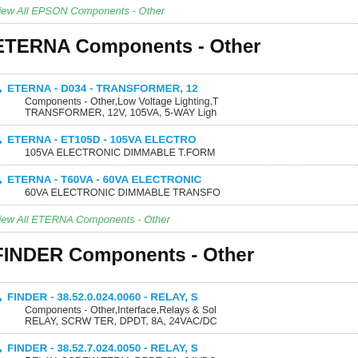View All EPSON Components - Other
ETERNA Components - Other
ETERNA - D034 - TRANSFORMER, 12V, 105VA, 5-WAY | Components - Other, Low Voltage Lighting, TRANSFORMER, 12V, 105VA, 5-WAY Ligh...
ETERNA - ET105D - 105VA ELECTRO... | 105VA ELECTRONIC DIMMABLE T.FORM...
ETERNA - T60VA - 60VA ELECTRONIC... | 60VA ELECTRONIC DIMMABLE TRANSFO...
View All ETERNA Components - Other
FINDER Components - Other
FINDER - 38.52.0.024.0060 - RELAY, S... | Components - Other, Interface, Relays & Sol... RELAY, SCRW TER, DPDT, 8A, 24VAC/DC...
FINDER - 38.52.7.024.0050 - RELAY, S... | RELAY, SCREW TERM, DPDT, 8A, 24VDC...